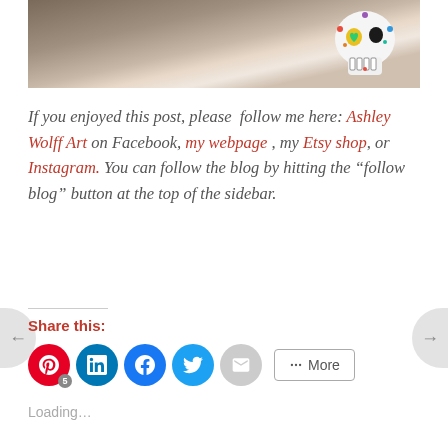[Figure (photo): Photo of a decorative painted skull and art supplies on a table]
If you enjoyed this post, please follow me here: Ashley Wolff Art on Facebook, my webpage, my Etsy shop, or Instagram. You can follow the blog by hitting the “follow blog” button at the top of the sidebar.
Share this:
Loading…